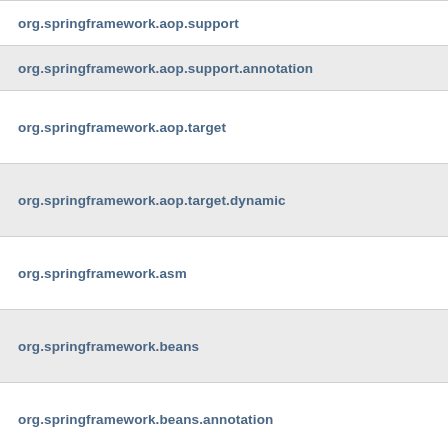org.springframework.aop.support
org.springframework.aop.support.annotation
org.springframework.aop.target
org.springframework.aop.target.dynamic
org.springframework.asm
org.springframework.beans
org.springframework.beans.annotation
org.springframework.beans.factory
org.springframework.beans.factory.access
org.springframework.beans.factory.access.el